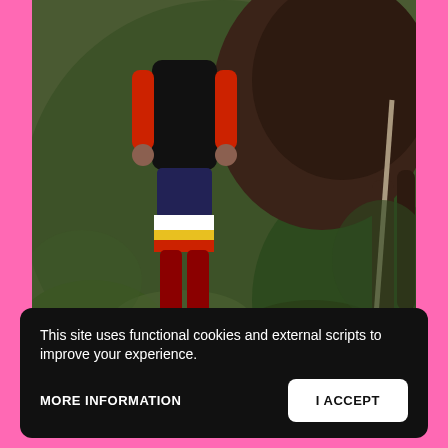[Figure (photo): Outdoor scene showing a person in a dark shirt with red sleeves and colorful shorts/clothing near what appears to be a large dark animal, surrounded by green foliage and vegetation. Pink border visible on sides.]
This site uses functional cookies and external scripts to improve your experience.
MORE INFORMATION
I ACCEPT